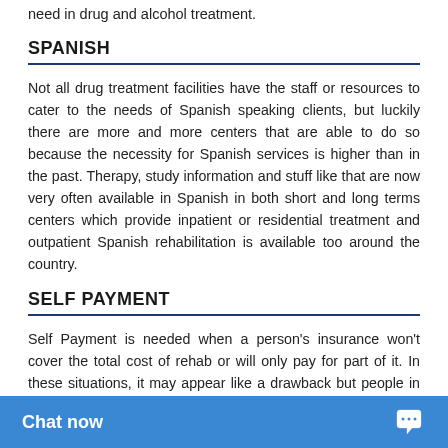need in drug and alcohol treatment.
SPANISH
Not all drug treatment facilities have the staff or resources to cater to the needs of Spanish speaking clients, but luckily there are more and more centers that are able to do so because the necessity for Spanish services is higher than in the past. Therapy, study information and stuff like that are now very often available in Spanish in both short and long terms centers which provide inpatient or residential treatment and outpatient Spanish rehabilitation is available too around the country.
SELF PAYMENT
Self Payment is needed when a person's insurance won't cover the total cost of rehab or will only pay for part of it. In these situations, it may appear like a drawback but people in fact have a much more leverage because they can choose whichever program they want witho... providers that so many m...